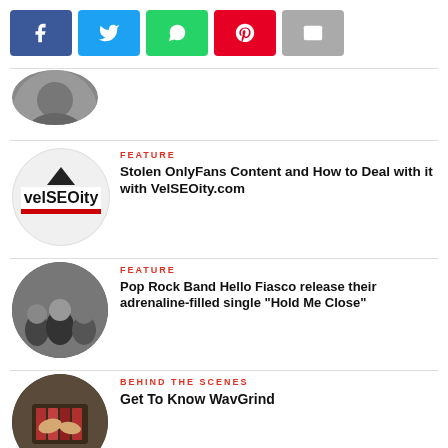[Figure (infographic): Social share buttons: Facebook (blue), Twitter (cyan), WhatsApp (green), Pinterest (red), Email (gray)]
[Figure (photo): Partial circular thumbnail of a person at top, cropped]
FEATURE
Stolen OnlyFans Content and How to Deal with it with VelSEOity.com
[Figure (photo): Circular thumbnail showing VelSEOity logo - black arrow on white circle with red underline]
FEATURE
Pop Rock Band Hello Fiasco release their adrenaline-filled single “Hold Me Close”
[Figure (photo): Circular thumbnail of a band (black and white photo) - multiple people sitting/crouching]
BEHIND THE SCENES
Get To Know WavGrind
[Figure (photo): Circular thumbnail of hands on a mixing board/DJ equipment]